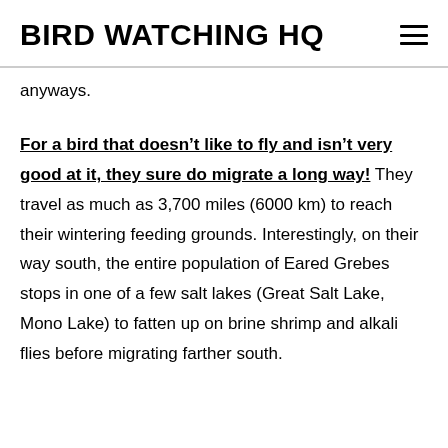BIRD WATCHING HQ
anyways.
For a bird that doesn't like to fly and isn't very good at it, they sure do migrate a long way! They travel as much as 3,700 miles (6000 km) to reach their wintering feeding grounds. Interestingly, on their way south, the entire population of Eared Grebes stops in one of a few salt lakes (Great Salt Lake, Mono Lake) to fatten up on brine shrimp and alkali flies before migrating farther south.